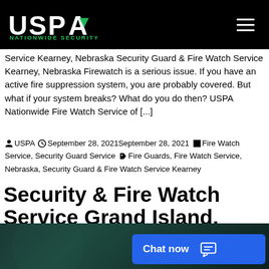USPA NATIONWIDE SECURITY
Service Kearney, Nebraska Security Guard & Fire Watch Service Kearney, Nebraska Firewatch is a serious issue. If you have an active fire suppression system, you are probably covered. But what if your system breaks? What do you do then? USPA Nationwide Fire Watch Service of [...]
USPA September 28, 2021September 28, 2021 Fire Watch Service, Security Guard Service Fire Guards, Fire Watch Service, Nebraska, Security Guard & Fire Watch Service Kearney
Security & Fire Watch Service Grand Island, Nebraska
[Figure (photo): Dark teal/green blurred background image with a blue chat button overlay reading 'Chat now']